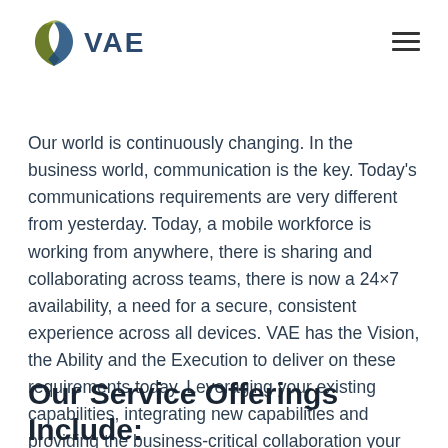VAE logo and navigation
Our world is continuously changing. In the business world, communication is the key. Today's communications requirements are very different from yesterday. Today, a mobile workforce is working from anywhere, there is sharing and collaborating across teams, there is now a 24×7 availability, a need for a secure, consistent experience across all devices. VAE has the Vision, the Ability and the Execution to deliver on these requirements today. Leveraging your existing capabilities, integrating new capabilities and providing the business-critical collaboration your teams need.
Our Service Offerings Include: